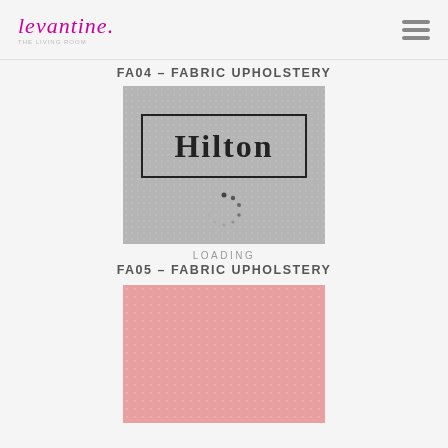levantine. / hamburger menu icon
FA04 – FABRIC UPHOLSTERY
[Figure (photo): Gray textured fabric swatch with 'Hilton' logo inside a black rectangular border, and a loading spinner overlay in the lower center]
LOADING
FA05 – FABRIC UPHOLSTERY
[Figure (photo): Pink/salmon colored fabric swatch, partially visible at bottom of page]